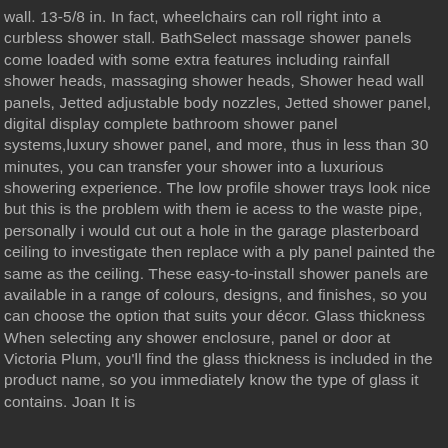wall. 13-5/8 in. In fact, wheelchairs can roll right into a curbless shower stall. BathSelect massage shower panels come loaded with some extra features including rainfall shower heads, massaging shower heads, Shower head wall panels, Jetted adjustable body nozzles, Jetted shower panel, digital display complete bathroom shower panel systems,luxury shower panel, and more, thus in less than 30 minutes, you can transfer your shower into a luxurious showering experience. The low profile shower trays look nice but this is the problem with them ie acess to the waste pipe, personally i would cut out a hole in the garage plasterboard ceiling to investigate then replace with a ply panel painted the same as the ceiling. These easy-to-install shower panels are available in a range of colours, designs, and finishes, so you can choose the option that suits your décor. Glass thickness When selecting any shower enclosure, panel or door at Victoria Plum, you'll find the glass thickness is included in the product name, so you immediately know the type of glass it contains. Joan It is